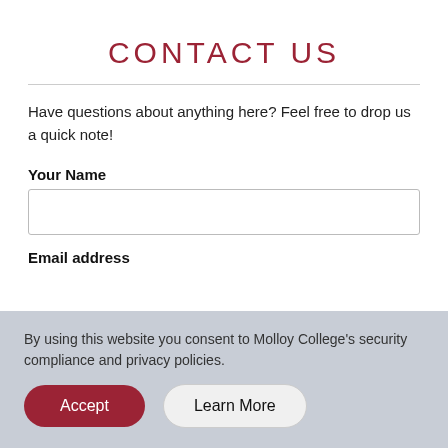CONTACT US
Have questions about anything here? Feel free to drop us a quick note!
Your Name
Email address
By using this website you consent to Molloy College's security compliance and privacy policies.